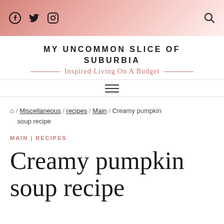Social and navigation header bar
MY UNCOMMON SLICE OF SUBURBIA
— Inspired Living On A Budget —
☰ (hamburger navigation menu)
🏠 / Miscellaneous / recipes / Main / Creamy pumpkin soup recipe
MAIN | RECIPES
Creamy pumpkin soup recipe